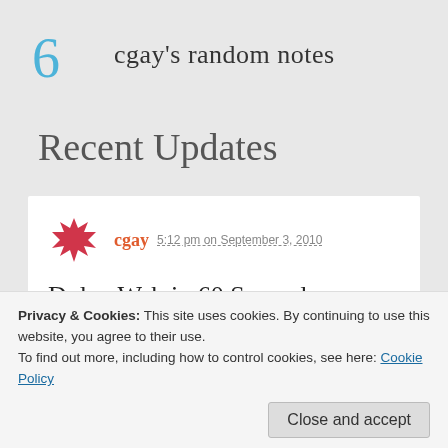cgay's random notes
Recent Updates
cgay 5:12 pm on September 3, 2010
Dylan Web in 60 Seconds
This will be a series of posts about how to do web...
Privacy & Cookies: This site uses cookies. By continuing to use this website, you agree to their use.
To find out more, including how to control cookies, see here: Cookie Policy
Close and accept
and use secure.